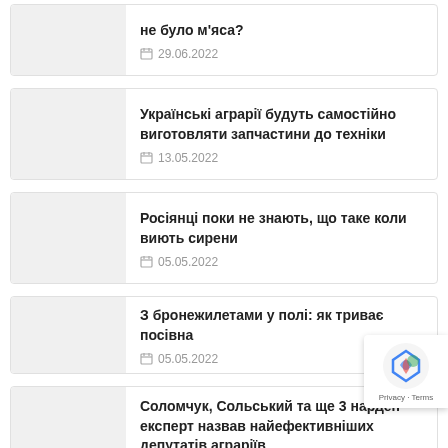не було м'яса? 29.06.2022
Українські аграрії будуть самостійно виготовляти запчастини до техніки 13.05.2022
Росіянці поки не знають, що таке коли виють сирени 05.05.2022
З бронежилетами у полі: як триває посівна 05.05.2022
Соломчук, Сольський та ще 3 нардепи: експерт назвав найефективніших депутатів аграріїв